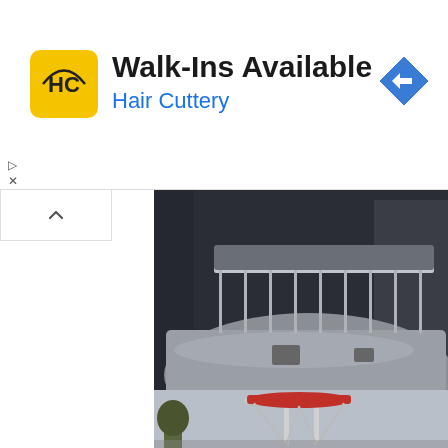[Figure (screenshot): Hair Cuttery advertisement banner with yellow logo showing 'HC', text 'Walk-Ins Available' and 'Hair Cuttery', and a blue diamond navigation arrow on the right]
[Figure (photo): A large pontoon/sailboat on a trailer, viewed from the side, in a storage or yard setting. Boat hull is white/silver.]
Awesome boat, good at everything from ...
United States
$ 50,000
[Figure (photo): Partial view of another boat listing showing a tower/T-top structure against a cloudy sky with trees.]